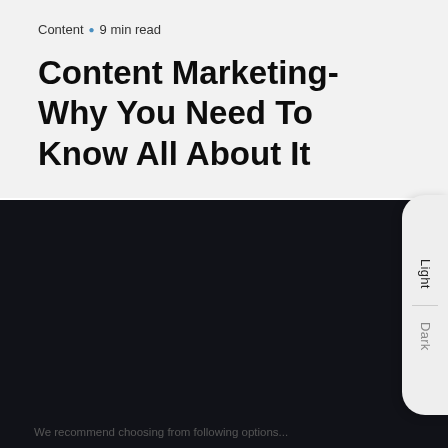Content · 9 min read
Content Marketing- Why You Need To Know All About It
[Figure (screenshot): Dark mode toggle widget with 'Light' and 'Dark' options in a pill-shaped button on the right side of the page]
We recommend choosing from the following options...